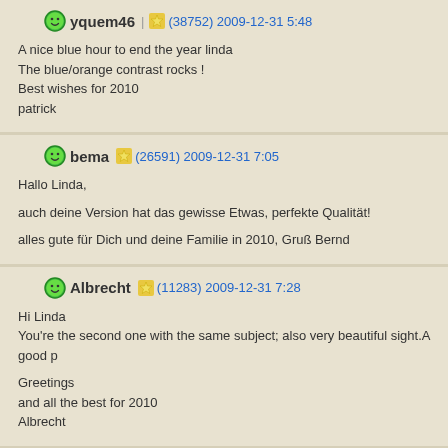yquem46 (38752) 2009-12-31 5:48
A nice blue hour to end the year linda
The blue/orange contrast rocks !
Best wishes for 2010
patrick
bema (26591) 2009-12-31 7:05
Hallo Linda,
auch deine Version hat das gewisse Etwas, perfekte Qualität!
alles gute für Dich und deine Familie in 2010, Gruß Bernd
Albrecht (11283) 2009-12-31 7:28
Hi Linda
You're the second one with the same subject; also very beautiful sight.A good p
Greetings
and all the best for 2010
Albrecht